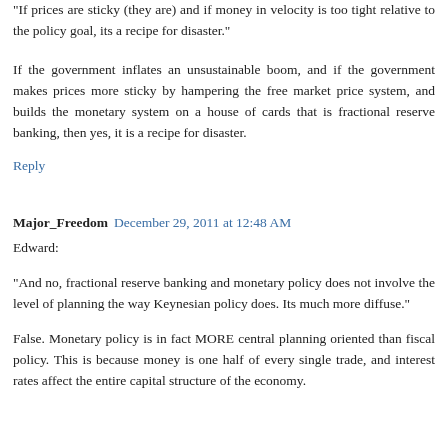"If prices are sticky (they are) and if money in velocity is too tight relative to the policy goal, its a recipe for disaster."
If the government inflates an unsustainable boom, and if the government makes prices more sticky by hampering the free market price system, and builds the monetary system on a house of cards that is fractional reserve banking, then yes, it is a recipe for disaster.
Reply
Major_Freedom December 29, 2011 at 12:48 AM
Edward:
"And no, fractional reserve banking and monetary policy does not involve the level of planning the way Keynesian policy does. Its much more diffuse."
False. Monetary policy is in fact MORE central planning oriented than fiscal policy. This is because money is one half of every single trade, and interest rates affect the entire capital structure of the economy.